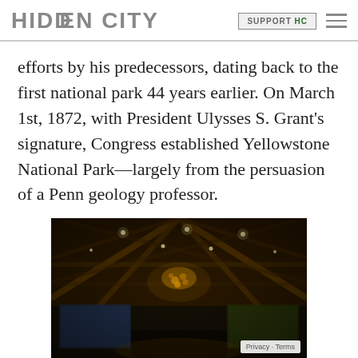HIDDEN CITY | SUPPORT HC
efforts by his predecessors, dating back to the first national park 44 years earlier. On March 1st, 1872, with President Ulysses S. Grant's signature, Congress established Yellowstone National Park—largely from the persuasion of a Penn geology professor.
[Figure (photo): Interior photo of a large wooden structure with geometric ceiling beams, hanging chandelier with warm lights, and landscape paintings or windows visible in the background. The scene appears to be a grand lodge interior, likely at Yellowstone National Park.]